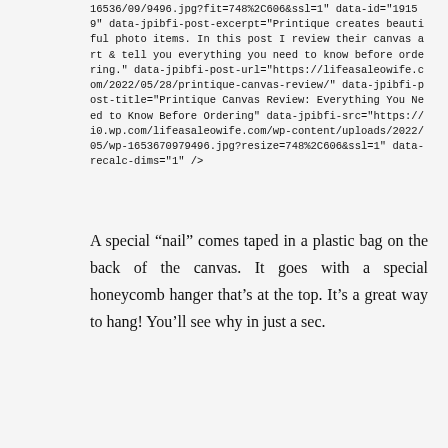16536/09/9496.jpg?fit=748%2C606&ssl=1" data-id="19159" data-jpibfi-post-excerpt="Printique creates beautiful photo items. In this post I review their canvas art & tell you everything you need to know before ordering." data-jpibfi-post-url="https://lifeasaleowife.com/2022/05/28/printique-canvas-review/" data-jpibfi-post-title="Printique Canvas Review: Everything You Need to Know Before Ordering" data-jpibfi-src="https://i0.wp.com/lifeasaleowife.com/wp-content/uploads/2022/05/wp-1653670979496.jpg?resize=748%2C606&ssl=1" data-recalc-dims="1" />
A special “nail” comes taped in a plastic bag on the back of the canvas. It goes with a special honeycomb hanger that’s at the top. It’s a great way to hang! You’ll see why in just a sec.
[Figure (photo): Photo of the back of a canvas print showing a dark backing with a honeycomb-style metal hanger bracket at the top center, wooden stretcher frame visible below, and a label strip near the top. The canvas is photographed against a brown wooden surface.]